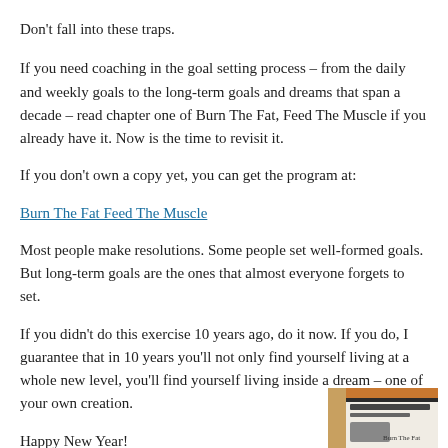Don't fall into these traps.
If you need coaching in the goal setting process – from the daily and weekly goals to the long-term goals and dreams that span a decade – read chapter one of Burn The Fat, Feed The Muscle if you already have it. Now is the time to revisit it.
If you don't own a copy yet, you can get the program at:
Burn The Fat Feed The Muscle
Most people make resolutions. Some people set well-formed goals. But long-term goals are the ones that almost everyone forgets to set.
If you didn't do this exercise 10 years ago, do it now. If you do, I guarantee that in 10 years you'll not only find yourself living at a whole new level, you'll find yourself living inside a dream – one of your own creation.
Happy New Year!
Tom Venuto, author of
[Figure (photo): Book cover of Burn The Fat Feed The Muscle partially visible at bottom right]